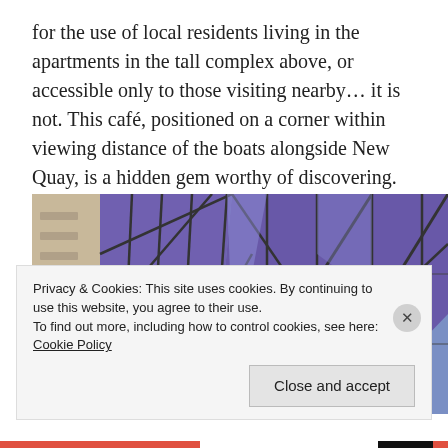for the use of local residents living in the apartments in the tall complex above, or accessible only to those visiting nearby... it is not. This café, positioned on a corner within viewing distance of the boats alongside New Quay, is a hidden gem worthy of discovering.
[Figure (photo): Exterior photo of a modern building with purple/violet geometric glass facade panels and reflective windows, with a concrete apartment building visible on the left side.]
Privacy & Cookies: This site uses cookies. By continuing to use this website, you agree to their use.
To find out more, including how to control cookies, see here: Cookie Policy
Close and accept